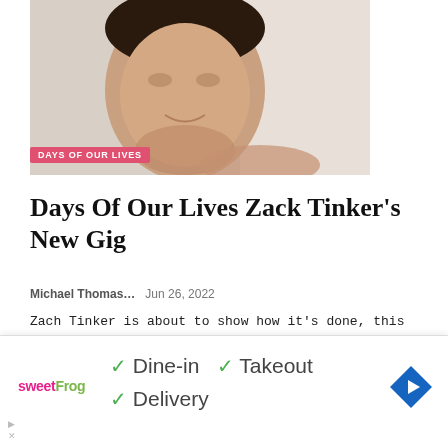[Figure (photo): Photo of Zack Tinker smiling in a car, with a 'DAYS OF OUR LIVES' badge overlay at bottom left]
Days Of Our Lives Zack Tinker's New Gig
Michael Thomas…   Jun 26, 2022
Zach Tinker is about to show how it's done, this time in horror style. The current Days of Our Lives contract actor who now plays Sonny Kiriakis is starring in a new horror project called The Quarry and it's extremely scary. Zack Tinker…
[Figure (photo): Partial preview of second article thumbnail showing dark hair against white background]
✓ Dine-in  ✓ Takeout
✓ Delivery
[Figure (logo): sweetFrog logo in pink and green text]